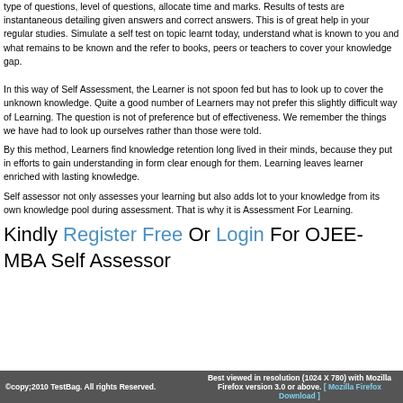type of questions, level of questions, allocate time and marks. Results of tests are instantaneous detailing given answers and correct answers. This is of great help in your regular studies. Simulate a self test on topic learnt today, understand what is known to you and what remains to be known and the refer to books, peers or teachers to cover your knowledge gap.
In this way of Self Assessment, the Learner is not spoon fed but has to look up to cover the unknown knowledge. Quite a good number of Learners may not prefer this slightly difficult way of Learning. The question is not of preference but of effectiveness. We remember the things we have had to look up ourselves rather than those were told.
By this method, Learners find knowledge retention long lived in their minds, because they put in efforts to gain understanding in form clear enough for them. Learning leaves learner enriched with lasting knowledge.
Self assessor not only assesses your learning but also adds lot to your knowledge from its own knowledge pool during assessment. That is why it is Assessment For Learning.
Kindly Register Free Or Login For OJEE-MBA Self Assessor
©copy;2010 TestBag. All rights Reserved. Best viewed in resolution (1024 X 780) with Mozilla Firefox version 3.0 or above. [ Mozilla Firefox Download ]